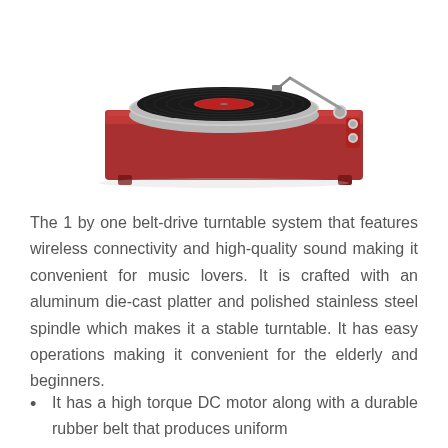[Figure (photo): A red/burgundy belt-drive turntable with a black vinyl record on the platter, tonearm visible on the right side, sitting on a wooden base with small feet, photographed on a white background.]
The 1 by one belt-drive turntable system that features wireless connectivity and high-quality sound making it convenient for music lovers. It is crafted with an aluminum die-cast platter and polished stainless steel spindle which makes it a stable turntable. It has easy operations making it convenient for the elderly and beginners.
It has a high torque DC motor along with a durable rubber belt that produces uniform